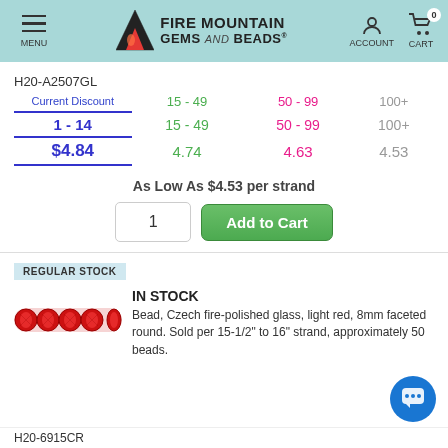[Figure (screenshot): Fire Mountain Gems and Beads website header with menu, logo, account and cart icons]
H20-A2507GL
| Current Discount | 15 - 49 | 50 - 99 | 100+ |
| --- | --- | --- | --- |
| 1 - 14 | 15 - 49 | 50 - 99 | 100+ |
| $4.84 | 4.74 | 4.63 | 4.53 |
As Low As $4.53 per strand
REGULAR STOCK
IN STOCK
[Figure (photo): Red Czech fire-polished glass beads on a strand]
Bead, Czech fire-polished glass, light red, 8mm faceted round. Sold per 15-1/2" to 16" strand, approximately 50 beads.
H20-6915CR